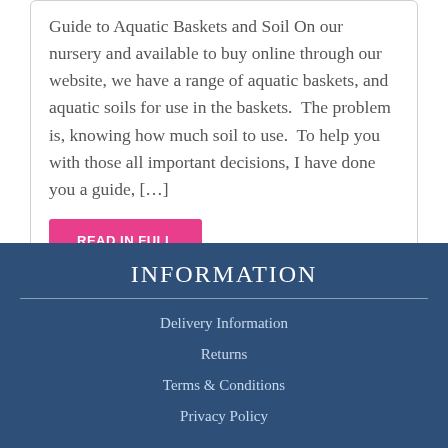Guide to Aquatic Baskets and Soil On our nursery and available to buy online through our website, we have a range of aquatic baskets, and aquatic soils for use in the baskets.  The problem is, knowing how much soil to use.  To help you with those all important decisions, I have done you a guide, […]
READ IN FULL
INFORMATION
Delivery Information
Returns
Terms & Conditions
Privacy Policy